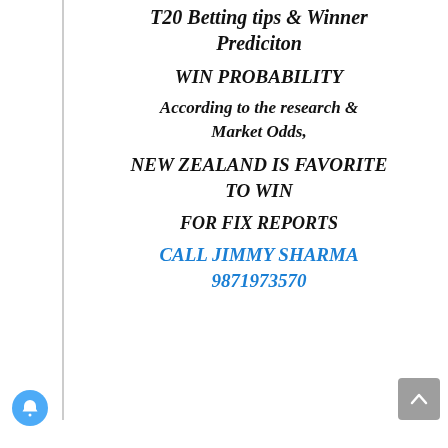T20 Betting tips & Winner Prediciton
WIN PROBABILITY
According to the research & Market Odds,
NEW ZEALAND IS FAVORITE TO WIN
FOR FIX REPORTS
CALL JIMMY SHARMA 9871973570